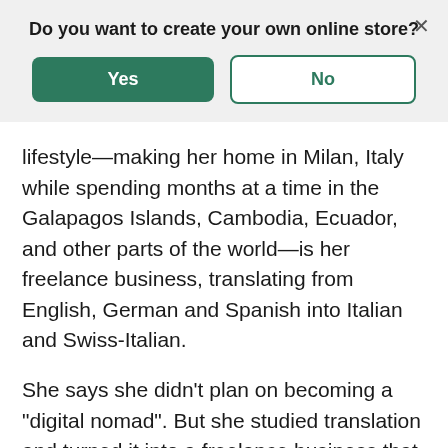Do you want to create your own online store?
Yes / No buttons with close
lifestyle—making her home in Milan, Italy while spending months at a time in the Galapagos Islands, Cambodia, Ecuador, and other parts of the world—is her freelance business, translating from English, German and Spanish into Italian and Swiss-Italian.
She says she didn't plan on becoming a "digital nomad". But she studied translation and turned it into a freelance business that she could operate completely online—work she loves to do in a new setting every once in a while.